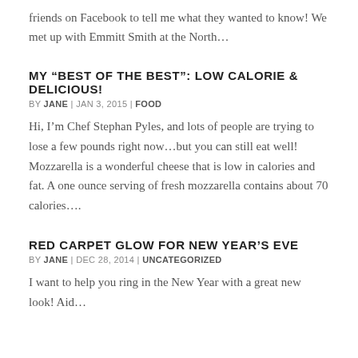friends on Facebook to tell me what they wanted to know! We met up with Emmitt Smith at the North…
MY “BEST OF THE BEST”: LOW CALORIE & DELICIOUS!
BY JANE | JAN 3, 2015 | FOOD
Hi, I’m Chef Stephan Pyles, and lots of people are trying to lose a few pounds right now…but you can still eat well! Mozzarella is a wonderful cheese that is low in calories and fat. A one ounce serving of fresh mozzarella contains about 70 calories….
RED CARPET GLOW FOR NEW YEAR’S EVE
BY JANE | DEC 28, 2014 | UNCATEGORIZED
I want to help you ring in the New Year with a great new look! Aid…